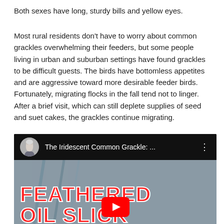Both sexes have long, sturdy bills and yellow eyes.
Most rural residents don't have to worry about common grackles overwhelming their feeders, but some people living in urban and suburban settings have found grackles to be difficult guests. The birds have bottomless appetites and are aggressive toward more desirable feeder birds. Fortunately, migrating flocks in the fall tend not to linger. After a brief visit, which can still deplete supplies of seed and suet cakes, the grackles continue migrating.
[Figure (screenshot): YouTube video thumbnail showing 'The Iridescent Common Grackle: ...' with a woman's avatar, three-dot menu, and overlay text reading 'FEATHERED OIL SLICK' with a YouTube play button below.]